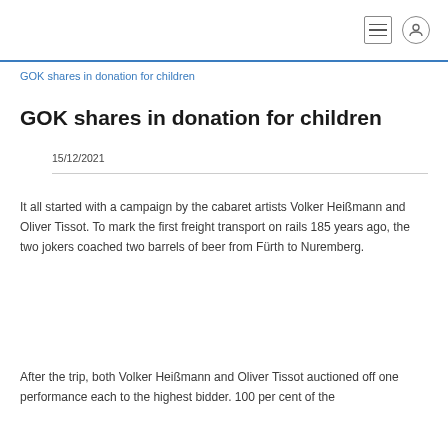[menu icon] [user icon]
GOK shares in donation for children
GOK shares in donation for children
15/12/2021
It all started with a campaign by the cabaret artists Volker Heißmann and Oliver Tissot. To mark the first freight transport on rails 185 years ago, the two jokers coached two barrels of beer from Fürth to Nuremberg.
After the trip, both Volker Heißmann and Oliver Tissot auctioned off one performance each to the highest bidder. 100 per cent of the